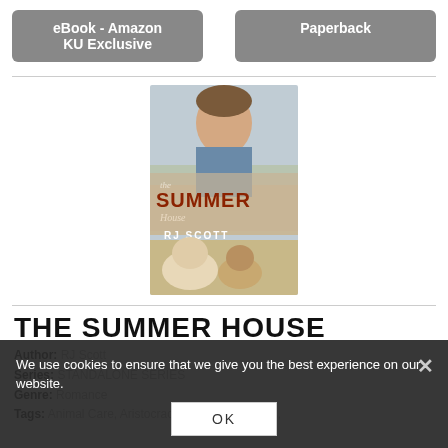eBook - Amazon KU Exclusive
Paperback
[Figure (illustration): Book cover for 'The Summer House' by RJ Scott showing a man, a puppy and a kitten.]
THE SUMMER HOUSE
Author: RJ Scott
Series: STANDALONE SERIES
Genre: Romance
Tags: Animal Care, Aristocracy, Friends to Lovers,
We use cookies to ensure that we give you the best experience on our website.
OK